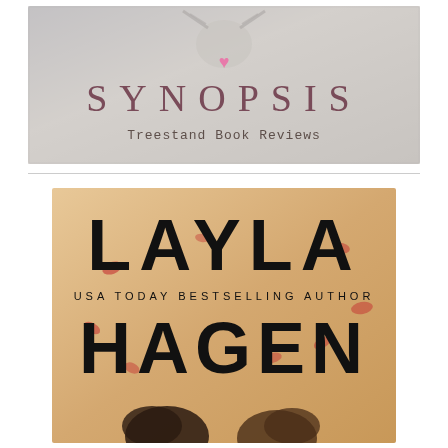[Figure (illustration): Banner image for Treestand Book Reviews showing the word SYNOPSIS in large spaced capital letters with a small pink heart above it, and 'Treestand Book Reviews' in typewriter font below. Background shows a dark artistic scene with a skull and antlers.]
[Figure (photo): Book cover by Layla Hagen, USA Today Bestselling Author. Large bold black text reads 'LAYLA' on top and 'HAGEN' below, with 'USA TODAY BESTSELLING AUTHOR' in smaller spaced capitals between them. Background shows a romantic scene with two people and red rose petals.]